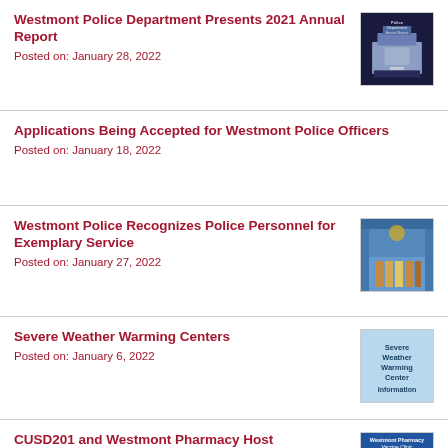Westmont Police Department Presents 2021 Annual Report
Posted on: January 28, 2022
[Figure (photo): Police Department Annual Report cover image with building photo on dark blue background]
Applications Being Accepted for Westmont Police Officers
Posted on: January 18, 2022
Westmont Police Recognizes Police Personnel for Exemplary Service
Posted on: January 27, 2022
[Figure (photo): Group photo of police personnel in front of building with blue panels]
Severe Weather Warming Centers
Posted on: January 6, 2022
[Figure (photo): Severe Weather Warming Center Information text on light blue background]
CUSD201 and Westmont Pharmacy Host Vaccination Clinic Jan. 29
Posted on: January 19, 2022
[Figure (photo): Westmont Pharmacy Vaccine Clinic January 29 flyer thumbnail]